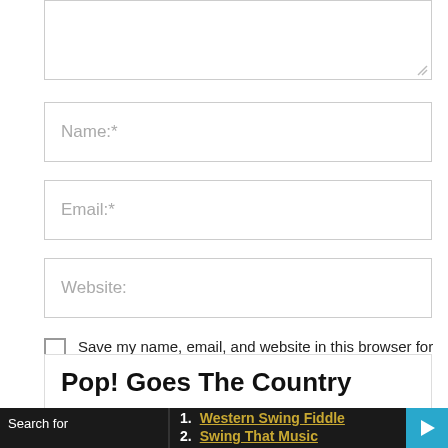[Figure (screenshot): Textarea input box (comment field) with resize handle at bottom right]
Name:*
Email:*
Website:
Save my name, email, and website in this browser for the next time I comment.
Post Comment
Pop! Goes The Country
1. Western Swing Fiddle
2. Swing That Music
Search for